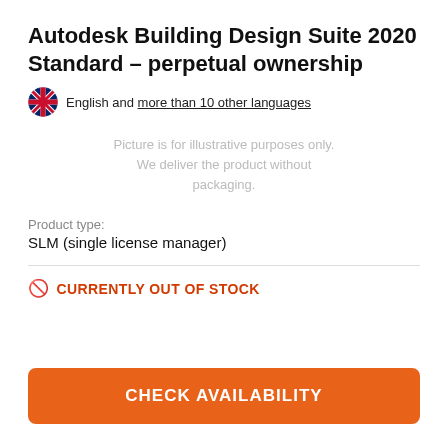Autodesk Building Design Suite 2020 Standard – perpetual ownership
English and more than 10 other languages
Picture is for illustrative purposes only. We deliver the product without packaging.
Product type:
SLM (single license manager)
CURRENTLY OUT OF STOCK
CHECK AVAILABILITY